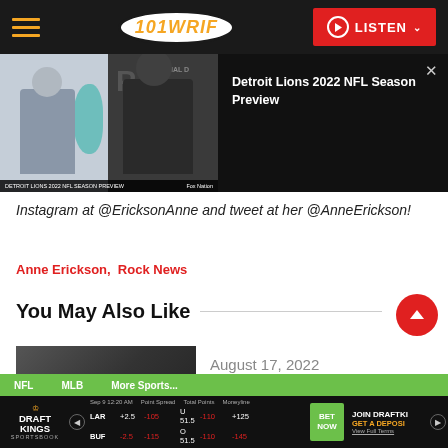101 WRIF — LISTEN
[Figure (screenshot): Video thumbnail showing two men in a split-screen interview for Detroit Lions 2022 NFL Season Preview]
Detroit Lions 2022 NFL Season Preview
Instagram at @EricksonAnne and tweet at her @AnneErickson!
Anne Erickson,  Rock News
You May Also Like
August 17, 2022
NFL   MLB   More Sports...
DRAFT KINGS SPORTSBOOK — Sep 9 12:20 AM  Point Spread  Total Points  Moneyline  LAR +2.5 -105  U 51.5 -110  +125  BUF -2.5 -115  O 51.5 -110  -145  BET NOW  JOIN DRAFTKINGS  GET A DEPOSIT  View Full Terms